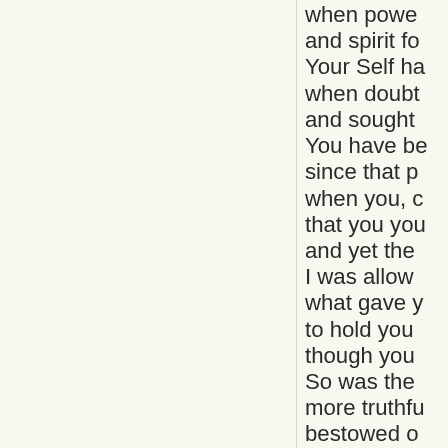when power... and spirit fo... Your Self ha... when doubt... and sought... You have be... since that p... when you, c... that you you... and yet the... I was allow... what gave y... to hold you... though you... So was the ... more truthfu... bestowed o... You are now...